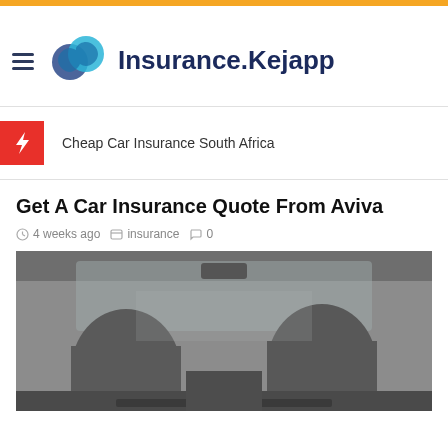Insurance.Kejapp
Cheap Car Insurance South Africa
Get A Car Insurance Quote From Aviva
4 weeks ago  insurance  0
[Figure (photo): View from inside a car, showing two passengers in the front seats and the car interior/dashboard]